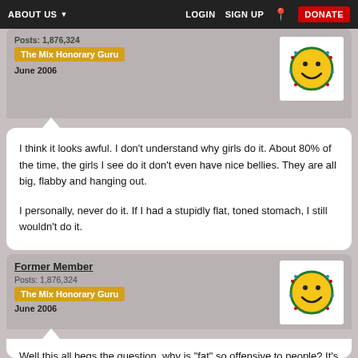ABOUT US  LOGIN  SIGN UP  DONATE
Posts: 1,876,324
The Mix Honorary Guru
June 2006
I think it looks awful. I don't understand why girls do it. About 80% of the time, the girls I see do it don't even have nice bellies. They are all big, flabby and hanging out.

I personally, never do it. If I had a stupidly flat, toned stomach, I still wouldn't do it.
Former Member
Posts: 1,876,324
The Mix Honorary Guru
June 2006
Well this all begs the question, why is "fat" so offensive to people? It's only flesh, after all, and the most natural state you could be in is your birthday suit 😉